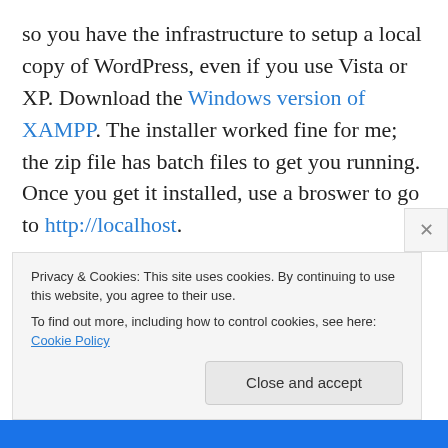so you have the infrastructure to setup a local copy of WordPress, even if you use Vista or XP. Download the Windows version of XAMPP. The installer worked fine for me; the zip file has batch files to get you running. Once you get it installed, use a broswer to go to http://localhost.
The web client for MySQL is phpMyAdmin. God only knows why it's called phpMyAdmin. Use this tool to create a new database with utf8_unicode_ci collation.
Download the latest WordPress files and add them to the
Privacy & Cookies: This site uses cookies. By continuing to use this website, you agree to their use.
To find out more, including how to control cookies, see here: Cookie Policy